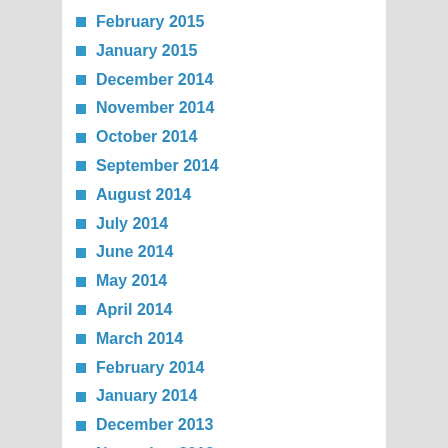February 2015
January 2015
December 2014
November 2014
October 2014
September 2014
August 2014
July 2014
June 2014
May 2014
April 2014
March 2014
February 2014
January 2014
December 2013
November 2013
October 2013
July 2013
June 2013
November 2012
September 2012